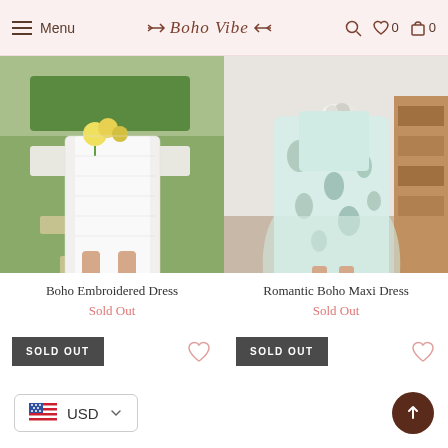Menu | Boho Vibe | Search | Wishlist 0 | Cart 0
[Figure (photo): Woman wearing white boho embroidered dress outdoors on grass with stepping stones, holding yellow flowers]
Boho Embroidered Dress
Sold Out
[Figure (photo): Woman wearing romantic floral light blue/green boho maxi dress indoors, holding white flowers]
Romantic Boho Maxi Dress
Sold Out
USD | Back to top button